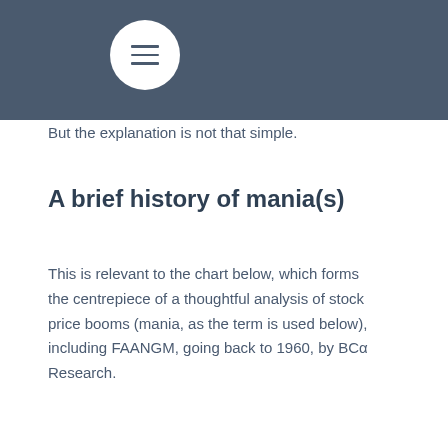But the explanation is not that simple.
A brief history of mania(s)
This is relevant to the chart below, which forms the centrepiece of a thoughtful analysis of stock price booms (mania, as the term is used below), including FAANGM, going back to 1960, by BCα Research.